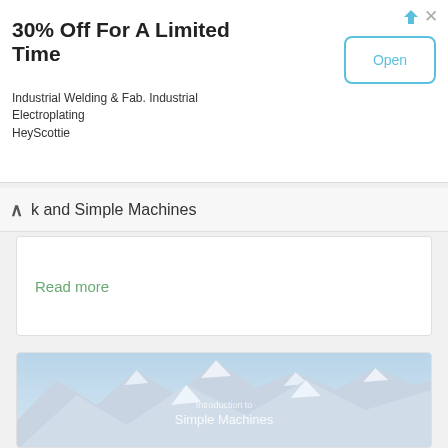[Figure (screenshot): Advertisement banner: '30% Off For A Limited Time' for Industrial Welding & Fab. Industrial Electroplating HeyScottie, with an Open button]
k and Simple Machines
Read more
[Figure (photo): Snow-covered mountain landscape with text overlay reading 'Introduction to Simple Machines']